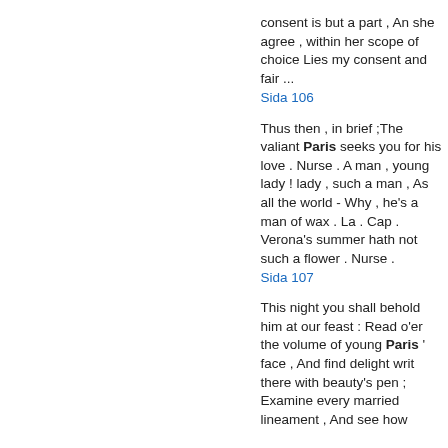consent is but a part , An she agree , within her scope of choice Lies my consent and fair ...
Sida 106
Thus then , in brief ;The valiant Paris seeks you for his love . Nurse . A man , young lady ! lady , such a man , As all the world - Why , he's a man of wax . La . Cap . Verona's summer hath not such a flower . Nurse .
Sida 107
This night you shall behold him at our feast : Read o'er the volume of young Paris ' face , And find delight writ there with beauty's pen ; Examine every married lineament , And see how